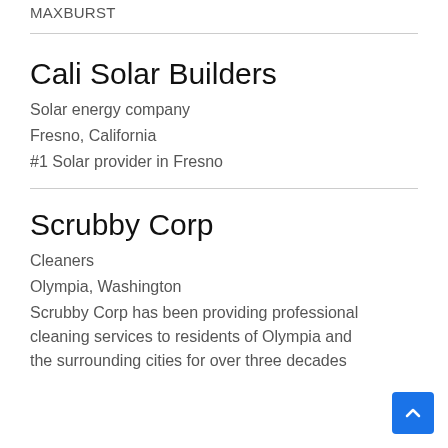MAXBURST
Cali Solar Builders
Solar energy company
Fresno, California
#1 Solar provider in Fresno
Scrubby Corp
Cleaners
Olympia, Washington
Scrubby Corp has been providing professional cleaning services to residents of Olympia and the surrounding cities for over three decades